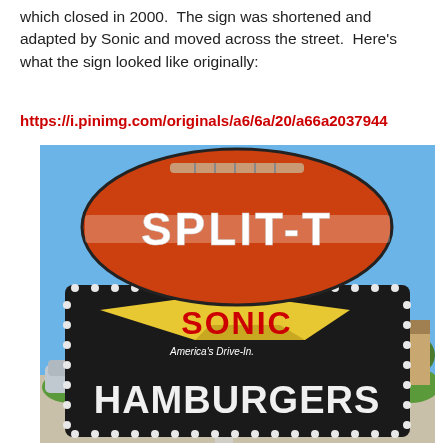which closed in 2000.  The sign was shortened and adapted by Sonic and moved across the street.  Here's what the sign looked like originally:
https://i.pinimg.com/originals/a6/6a/20/a66a2037944...
[Figure (photo): Photograph of a large vintage roadside sign. At the top is a football-shaped sign reading 'SPLIT-T' in white letters on an orange/red background. Below is a black Sonic sign with yellow boomerang/arrow shape reading 'SONIC' in red letters, with 'America's Drive-In' text. Below that in large white letters on the black sign reads 'HAMBURGERS'. The sign has decorative light bulb borders. Blue sky and trees are visible in the background.]